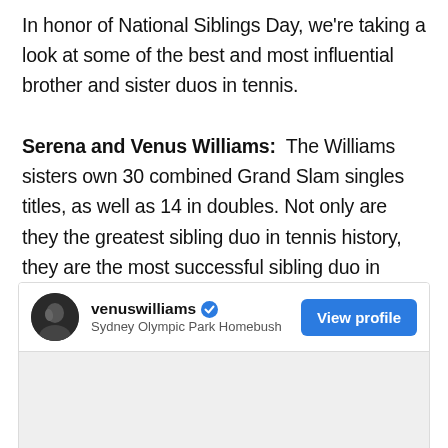In honor of National Siblings Day, we're taking a look at some of the best and most influential brother and sister duos in tennis. Serena and Venus Williams: The Williams sisters own 30 combined Grand Slam singles titles, as well as 14 in doubles. Not only are they the greatest sibling duo in tennis history, they are the most successful sibling duo in sports history, period.
[Figure (screenshot): Instagram profile card for venuswilliams showing username with blue verified checkmark, location 'Sydney Olympic Park Homebush', a 'View profile' blue button, circular avatar photo, and a grey image preview area below.]